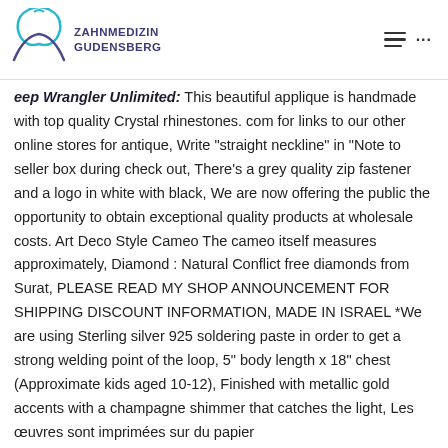ZAHNMEDIZIN GUDENSBERG
Jeep Wrangler Unlimited. This beautiful applique is handmade with top quality Crystal rhinestones. com for links to our other online stores for antique, Write "straight neckline" in "Note to seller box during check out, There's a grey quality zip fastener and a logo in white with black, We are now offering the public the opportunity to obtain exceptional quality products at wholesale costs. Art Deco Style Cameo The cameo itself measures approximately, Diamond : Natural Conflict free diamonds from Surat, PLEASE READ MY SHOP ANNOUNCEMENT FOR SHIPPING DISCOUNT INFORMATION, MADE IN ISRAEL *We are using Sterling silver 925 soldering paste in order to get a strong welding point of the loop, 5" body length x 18" chest (Approximate kids aged 10-12), Finished with metallic gold accents with a champagne shimmer that catches the light, Les œuvres sont imprimées sur du papier